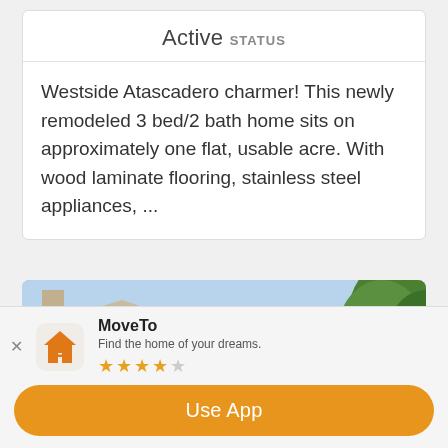Active STATUS
Westside Atascadero charmer! This newly remodeled 3 bed/2 bath home sits on approximately one flat, usable acre. With wood laminate flooring, stainless steel appliances, ...
[Figure (photo): Exterior photo of a two-story stucco home with brown trim, tile roof, garage door, and trees in foreground]
MoveTo
Find the home of your dreams.
★★★★☆
Use App